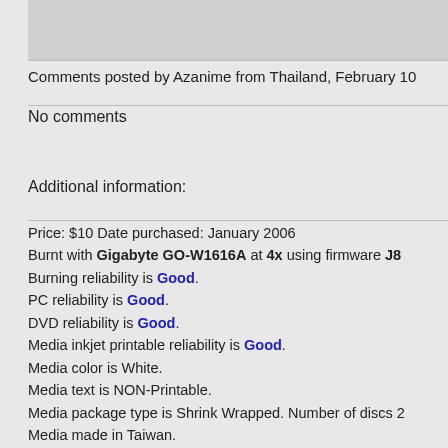Comments posted by Azanime from Thailand, February 10
No comments
Additional information:
Price: $10 Date purchased: January 2006
Burnt with Gigabyte GO-W1616A at 4x using firmware J8
Burning reliability is Good.
PC reliability is Good.
DVD reliability is Good.
Media inkjet printable reliability is Good.
Media color is White.
Media text is NON-Printable.
Media package type is Shrink Wrapped. Number of discs 2
Media made in Taiwan.
Authoring/Burning comments:
DVD Decrypter 3.2.3.0